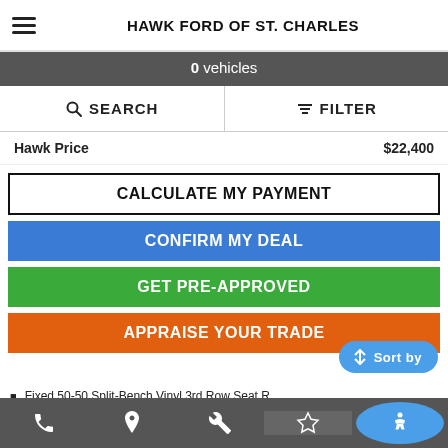HAWK FORD OF ST. CHARLES
0 vehicles
SEARCH   FILTER
Hawk Price   $22,400
CALCULATE MY PAYMENT
CONFIRM MY DEAL
GET PRE-APPROVED
APPRAISE YOUR TRADE
Fixed 50-50 Split-Bench Vinyl 3rd Row Seat R...
Interior Trim -inc: Simulated Wood/Metal-Look Instrument Panel...
Securilock Anti-Theft Ignition (pats) Immobilizer
Phone  Location  Wrench  Star  Accessibility